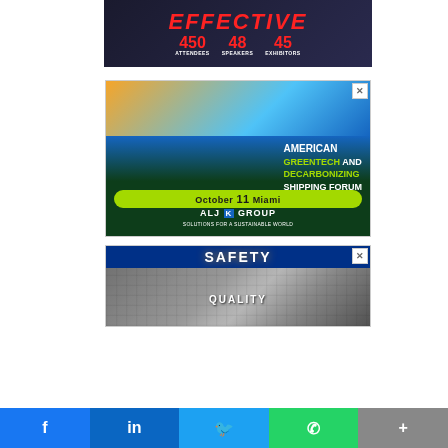[Figure (infographic): Top advertisement banner showing EFFECTIVE in red italic text on dark background, with stats: 450 ATTENDEES, 48 SPEAKERS, 45 EXHIBITORS in red numbers on dark background]
[Figure (infographic): Advertisement for American Greentech and Decarbonizing Shipping Forum, October 11 Miami, presented by ALJ Group. Features cruise ship image at top with sunset, '2' in lime green italic, ship icon, forum text in white and lime green, date in green pill, ALJ Group logo at bottom.]
[Figure (infographic): Advertisement banner for SAFETY event with blue header showing SAFETY text, and aerial/overhead view of a large crowd or facility below showing QUALITY text]
[Figure (infographic): Social media sharing bar at the bottom with Facebook (blue), LinkedIn (blue), Twitter (light blue), WhatsApp (green), and a More button (gray) icons]